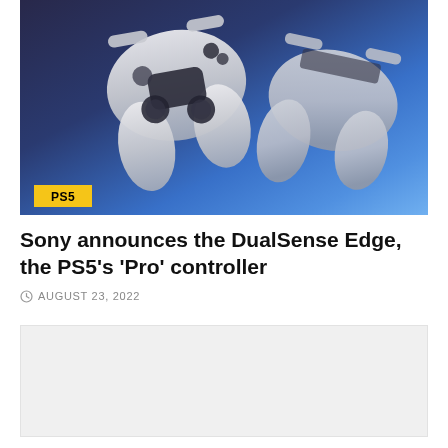[Figure (photo): Two white PS5 DualSense Edge controllers floating against a blue-purple gradient background, with a yellow PS5 badge in the bottom-left corner]
Sony announces the DualSense Edge, the PS5's 'Pro' controller
AUGUST 23, 2022
[Figure (photo): Light gray placeholder image area below the article header]